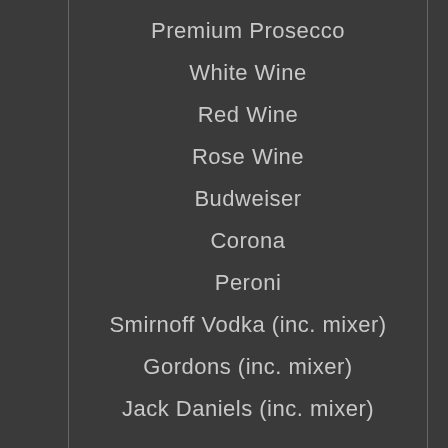Premium Prosecco
White Wine
Red Wine
Rose Wine
Budweiser
Corona
Peroni
Smirnoff Vodka (inc. mixer)
Gordons (inc. mixer)
Jack Daniels (inc. mixer)